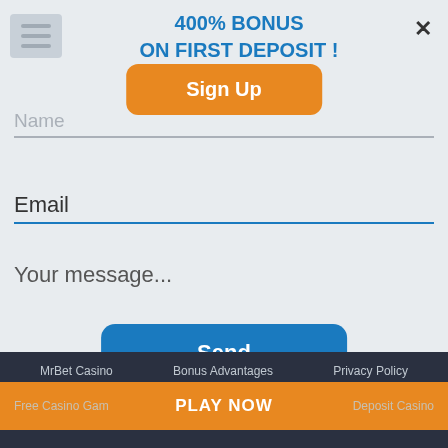[Figure (screenshot): Hamburger menu icon (three horizontal lines) in a gray rounded rectangle in top-left corner]
400% BONUS
ON FIRST DEPOSIT !
[Figure (other): X close button in top-right corner]
[Figure (other): Orange 'Sign Up' button overlapping Name field]
Name
Email
Your message...
[Figure (other): Blue 'Send' button]
MrBet Casino    Bonus Advantages    Privacy Policy
Free Casino Games    No Deposit Casino
PLAY NOW